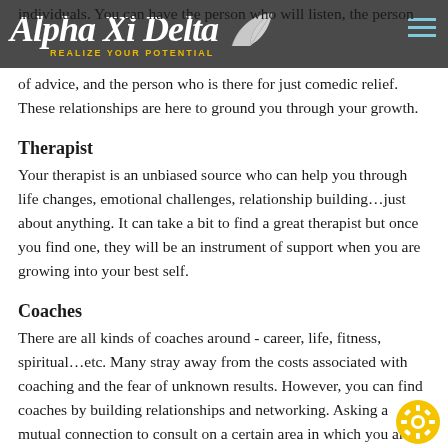individuals. You can have the person who will listen, the person who [...] person who is there for just comedic relief. These relationships are here to ground you through your growth.
Alpha Xi Delta — Realize Your Potential
Therapist
Your therapist is an unbiased source who can help you through life changes, emotional challenges, relationship building…just about anything. It can take a bit to find a great therapist but once you find one, they will be an instrument of support when you are growing into your best self.
Coaches
There are all kinds of coaches around - career, life, fitness, spiritual…etc. Many stray away from the costs associated with coaching and the fear of unknown results. However, you can find coaches by building relationships and networking. Asking a mutual connection to consult on a certain area in which you ar